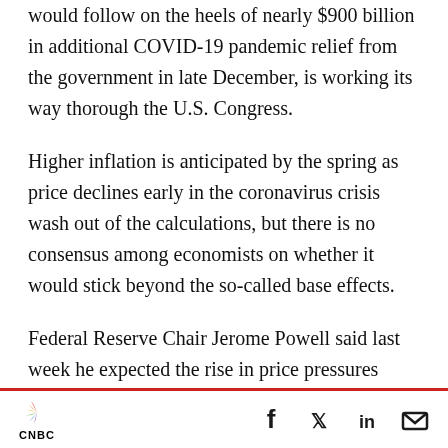would follow on the heels of nearly $900 billion in additional COVID-19 pandemic relief from the government in late December, is working its way thorough the U.S. Congress.
Higher inflation is anticipated by the spring as price declines early in the coronavirus crisis wash out of the calculations, but there is no consensus among economists on whether it would stick beyond the so-called base effects.
Federal Reserve Chair Jerome Powell said last week he expected the rise in price pressures would be transitory, citing three decades of lower
CNBC